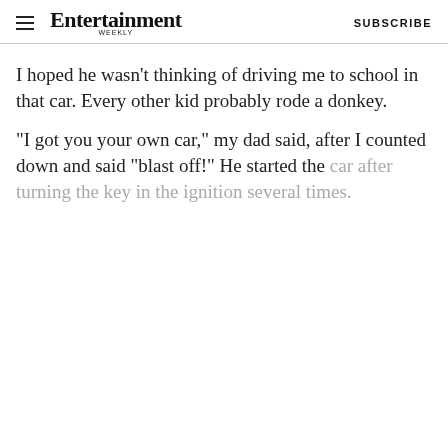Entertainment Weekly  SUBSCRIBE
I hoped he wasn't thinking of driving me to school in that car. Every other kid probably rode a donkey.
"I got you your own car," my dad said, after I counted down and said "blast off!" He started the car after turning the key in the ignition several times.